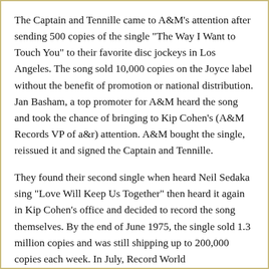The Captain and Tennille came to A&M's attention after sending 500 copies of the single "The Way I Want to Touch You" to their favorite disc jockeys in Los Angeles. The song sold 10,000 copies on the Joyce label without the benefit of promotion or national distribution. Jan Basham, a top promoter for A&M heard the song and took the chance of bringing to Kip Cohen's (A&M Records VP of a&r) attention. A&M bought the single, reissued it and signed the Captain and Tennille.
They found their second single when heard Neil Sedaka sing "Love Will Keep Us Together" then heard it again in Kip Cohen's office and decided to record the song themselves. By the end of June 1975, the single sold 1.3 million copies and was still shipping up to 200,000 copies each week. In July, Record World